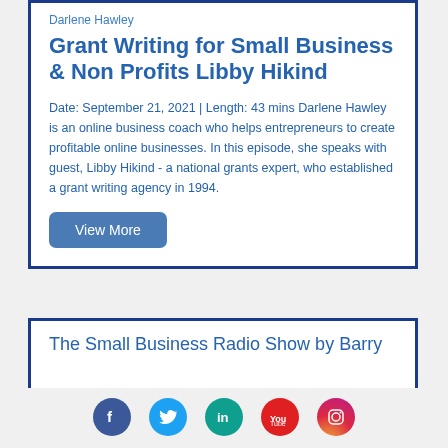Darlene Hawley
Grant Writing for Small Business & Non Profits Libby Hikind
Date: September 21, 2021 | Length: 43 mins Darlene Hawley is an online business coach who helps entrepreneurs to create profitable online businesses. In this episode, she speaks with guest, Libby Hikind - a national grants expert, who established a grant writing agency in 1994.
View More
The Small Business Radio Show by Barry